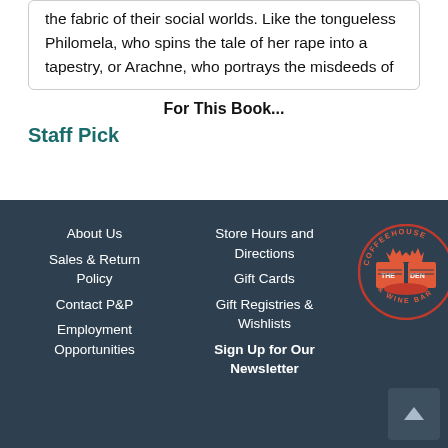the fabric of their social worlds. Like the tongueless Philomela, who spins the tale of her rape into a tapestry, or Arachne, who portrays the misdeeds of the gods, these heroines weave texts of...
For This Book...
Staff Pick
About Us
Sales & Return Policy
Contact P&P
Employment Opportunities
Store Hours and Directions
Gift Cards
Gift Registries & Wishlists
Sign Up for Our Newsletter
[Figure (logo): The Den Coffeehouse & Wine Bar circular logo with an open book illustration in red/orange on dark background]